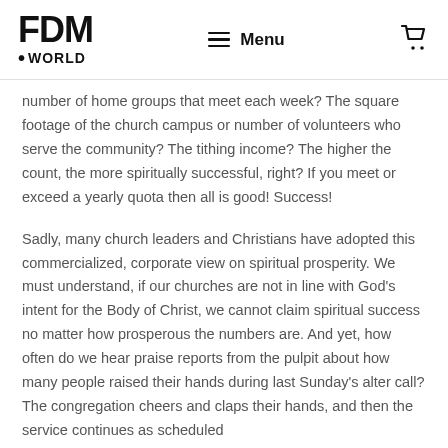FDM .WORLD   Menu   🛒
number of home groups that meet each week? The square footage of the church campus or number of volunteers who serve the community? The tithing income? The higher the count, the more spiritually successful, right? If you meet or exceed a yearly quota then all is good! Success!
Sadly, many church leaders and Christians have adopted this commercialized, corporate view on spiritual prosperity. We must understand, if our churches are not in line with God's intent for the Body of Christ, we cannot claim spiritual success no matter how prosperous the numbers are. And yet, how often do we hear praise reports from the pulpit about how many people raised their hands during last Sunday's alter call? The congregation cheers and claps their hands, and then the service continues as scheduled